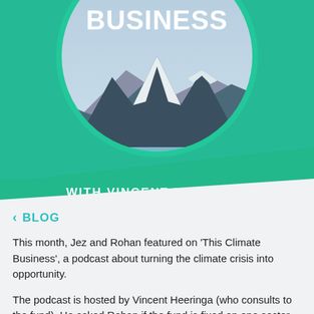[Figure (illustration): Podcast artwork for 'This Climate Business with Vincent Heeringa' showing a green circular logo with white text 'BUSINESS' at the top, a scenic mountain and lake landscape in the background, a green diagonal banner, and text 'WITH VINCENT HEERINGA' in white on a green bar at the bottom of the image area.]
< BLOG
This month, Jez and Rohan featured on 'This Climate Business', a podcast about turning the climate crisis into opportunity.
The podcast is hosted by Vincent Heeringa (who consults to the fund). He asked Rohan if the fund is fixed on one sector or class of investments.